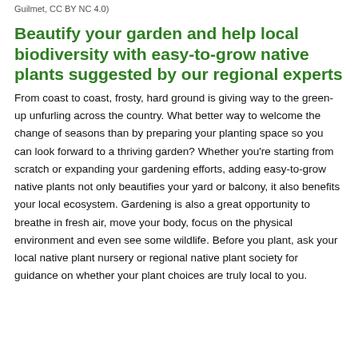Guilmet, CC BY NC 4.0)
Beautify your garden and help local biodiversity with easy-​to-grow native plants suggested by our regional experts
From coast to coast, frosty, hard ground is giving way to the green-up unfurling across the country. What better way to welcome the change of seasons than by preparing your planting space so you can look forward to a thriving garden? Whether you’re starting from scratch or expanding your gardening efforts, adding easy-to-grow native plants not only beautifies your yard or balcony, it also benefits your local ecosystem. Gardening is also a great opportunity to breathe in fresh air, move your body, focus on the physical environment and even see some wildlife. Before you plant, ask your local native plant nursery or regional native plant society for guidance on whether your plant choices are truly local to you.